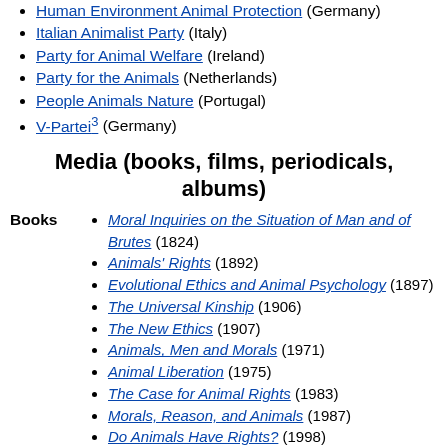Human Environment Animal Protection (Germany)
Italian Animalist Party (Italy)
Party for Animal Welfare (Ireland)
Party for the Animals (Netherlands)
People Animals Nature (Portugal)
V-Partei³ (Germany)
Media (books, films, periodicals, albums)
Moral Inquiries on the Situation of Man and of Brutes (1824)
Animals' Rights (1892)
Evolutional Ethics and Animal Psychology (1897)
The Universal Kinship (1906)
The New Ethics (1907)
Animals, Men and Morals (1971)
Animal Liberation (1975)
The Case for Animal Rights (1983)
Morals, Reason, and Animals (1987)
Do Animals Have Rights? (1998)
The Lives of Animals (1999)
Striking at the Roots (2008)
An American Trilogy (2009)
An Introduction to Animals and Political